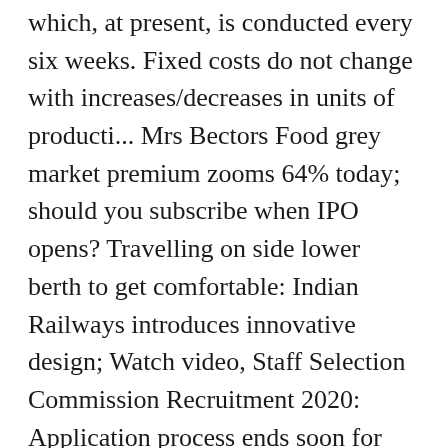which, at present, is conducted every six weeks. Fixed costs do not change with increases/decreases in units of producti... Mrs Bectors Food grey market premium zooms 64% today; should you subscribe when IPO opens? Travelling on side lower berth to get comfortable: Indian Railways introduces innovative design; Watch video, Staff Selection Commission Recruitment 2020: Application process ends soon for 4,726 posts — check details, Share Market HIGHLIGHTS: Sensex ends over 100 points up, Nifty above 13,500; ONGC, NTPC shares surge over 5%, How the New Wage Rules will impact salaried persons - Here's all you need to know, Parliament New Building Foundation today: PM Narendra Modi lays foundation stone; Check key features. Just be sure to